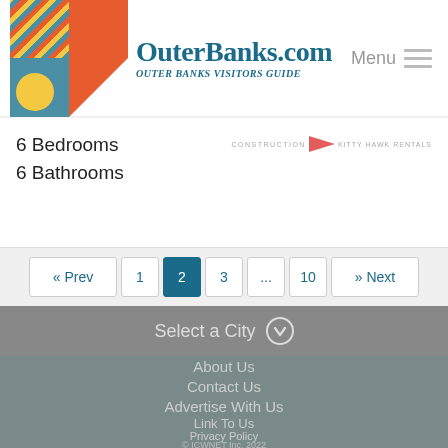OuterBanks.com Visitors Guide
6 Bedrooms
6 Bathrooms
« Prev  1  2  3  ...  10  » Next
Select a City
About Us
Contact Us
Advertise With Us
Link To Us
Privacy Policy
© ICWNET Inc. 2022